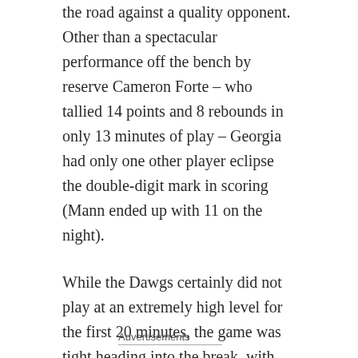the road against a quality opponent. Other than a spectacular performance off the bench by reserve Cameron Forte – who tallied 14 points and 8 rebounds in only 13 minutes of play – Georgia had only one other player eclipse the double-digit mark in scoring (Mann ended up with 11 on the night).
While the Dawgs certainly did not play at an extremely high level for the first 20 minutes, the game was tight heading into the break, with the Colonials leading 28-23. However, Coach Fox's team could not overcome their carelessness with the basketball, turning it over a total of 20 times in Friday's contest. George Washington capitalized on UGA's sloppiness in the second half, converting 14 points off of Georgia turnovers.
Advertisements